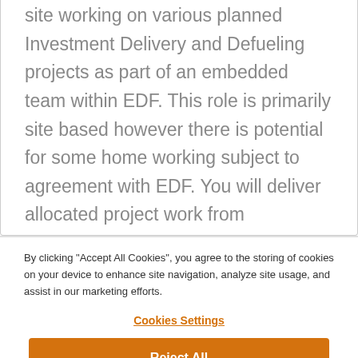Engineer to join us at our Heysham 1 Power Station site working on various planned Investment Delivery and Defueling projects as part of an embedded team within EDF. This role is primarily site based however there is potential for some home working subject to agreement with EDF. You will deliver allocated project work from assignment to close out to support the Heysham 1 site. This will require close collaboration with the client, other team members and contract partners.
By clicking "Accept All Cookies", you agree to the storing of cookies on your device to enhance site navigation, analyze site usage, and assist in our marketing efforts.
Cookies Settings
Reject All